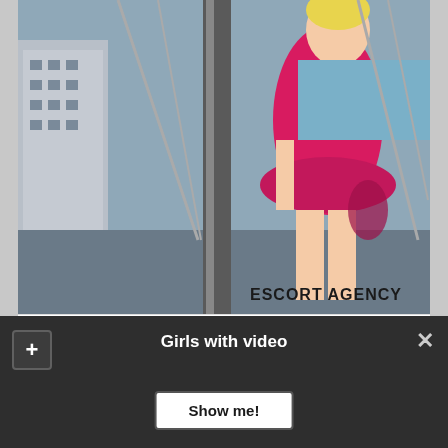[Figure (photo): Woman in pink/magenta strapless peplum dress standing on a rooftop or terrace with metal railings and city buildings in background. Text watermark reads 'ESCORT AGENCY' in bold black letters at bottom right of image.]
| Address: | Colombia |
Girls with video
Show me!